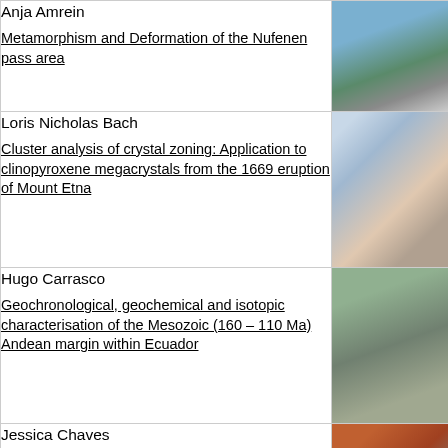Anja Amrein
Metamorphism and Deformation of the Nufenen pass area
[Figure (photo): Mountain landscape with rocky terrain and snow]
Loris Nicholas Bach
Cluster analysis of crystal zoning: Application to clinopyroxene megacrystals from the 1669 eruption of Mount Etna
[Figure (photo): Close-up of crystal cross-sections showing zoning patterns]
Hugo Carrasco
Geochronological, geochemical and isotopic characterisation of the Mesozoic (160 – 110 Ma) Andean margin within Ecuador
[Figure (photo): Green-grey rock specimen]
Jessica Chaves
Microcodium: investigations on the origin of a dubious continental proxy
[Figure (photo): Fossil or mineral specimen in orange/brown color]